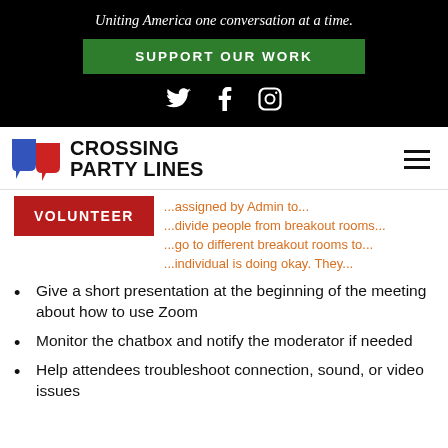Uniting America one conversation at a time.
SUPPORT OUR WORK
[Figure (logo): Social media icons: Twitter, Facebook, Instagram in white on black background]
RESPONSIBILITIES
[Figure (logo): Crossing Party Lines logo with blue and red speech bubble icons and bold text CROSSING PARTY LINES]
VOLUNTEER
...assigned by Admin to...
...divide people from breakout rooms...
...go to different breakout rooms to...
...individual is doing okay. They...
Give a short presentation at the beginning of the meeting about how to use Zoom
Monitor the chatbox and notify the moderator if needed
Help attendees troubleshoot connection, sound, or video issues